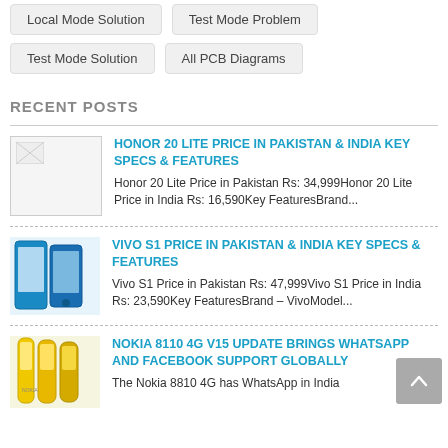Local Mode Solution
Test Mode Problem
Test Mode Solution
All PCB Diagrams
RECENT POSTS
HONOR 20 LITE PRICE IN PAKISTAN & INDIA KEY SPECS & FEATURES
Honor 20 Lite Price in Pakistan Rs: 34,999Honor 20 Lite Price in India Rs: 16,590Key FeaturesBrand...
VIVO S1 PRICE IN PAKISTAN & INDIA KEY SPECS & FEATURES
Vivo S1 Price in Pakistan Rs: 47,999Vivo S1 Price in India Rs: 23,590Key FeaturesBrand – VivoModel...
NOKIA 8110 4G V15 UPDATE BRINGS WHATSAPP AND FACEBOOK SUPPORT GLOBALLY
The Nokia 8810 4G has WhatsApp in India